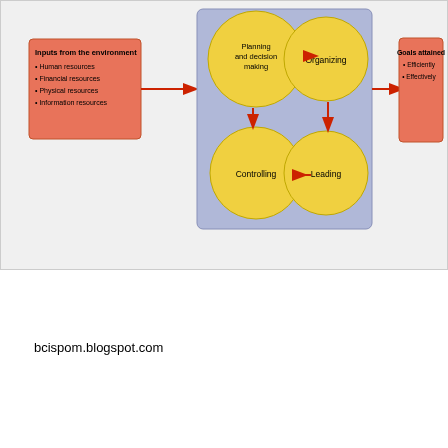[Figure (flowchart): Management process flowchart showing: Inputs from the environment (Human resources, Financial resources, Physical resources, Information resources) arrow right to central blue box containing four yellow circles: Planning and decision making (top-left), Organizing (top-right), Controlling (bottom-left), Leading (bottom-right), with red arrows between them; then arrow right to Goals attained (Efficiently, Effectively). Red arrows connect the circles in a cycle.]
bcispom.blogspot.com